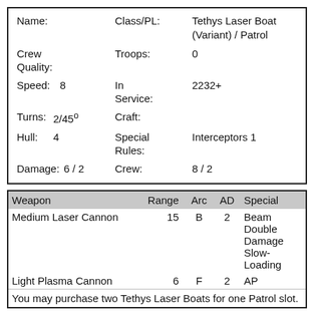| Name: |  | Class/PL: | Tethys Laser Boat (Variant) / Patrol |
| --- | --- | --- | --- |
| Crew Quality: |  | Troops: | 0 |
| Speed: | 8 | In Service: | 2232+ |
| Turns: | 2/45° | Craft: |  |
| Hull: | 4 | Special Rules: | Interceptors 1 |
| Damage: | 6 / 2 | Crew: | 8 / 2 |
| Weapon | Range | Arc | AD | Special |
| --- | --- | --- | --- | --- |
| Medium Laser Cannon | 15 | B | 2 | Beam Double Damage Slow-Loading |
| Light Plasma Cannon | 6 | F | 2 | AP |
| You may purchase two Tethys Laser Boats for one Patrol slot. |  |  |  |  |
All Content Copyright Mongoose Publishing 2009-2022. Reproduced with permission.